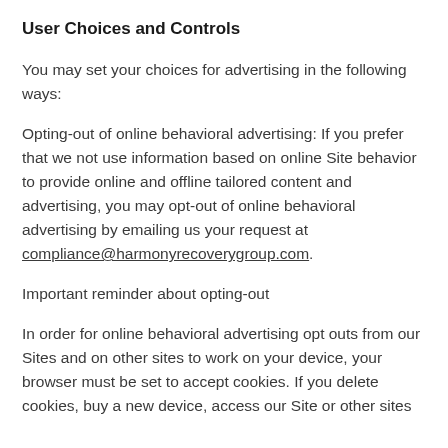User Choices and Controls
You may set your choices for advertising in the following ways:
Opting-out of online behavioral advertising: If you prefer that we not use information based on online Site behavior to provide online and offline tailored content and advertising, you may opt-out of online behavioral advertising by emailing us your request at compliance@harmonyrecoverygroup.com.
Important reminder about opting-out
In order for online behavioral advertising opt outs from our Sites and on other sites to work on your device, your browser must be set to accept cookies. If you delete cookies, buy a new device, access our Site or other sites